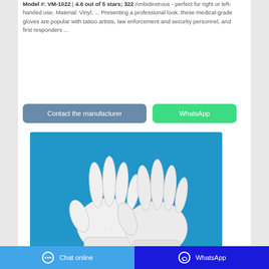Model #: VM-1022 | 4.6 out of 5 stars; 322 Ambidextrous - perfect for right or left-handed use. Material: Vinyl; ... Presenting a professional look, these medical-grade gloves are popular with tattoo artists, law enforcement and security personnel, and first responders ...
Contact the manufacturer
WhatsApp
[Figure (photo): White vinyl medical gloves displayed on a blue background, two gloves overlapping each other]
Chat online | WhatsApp